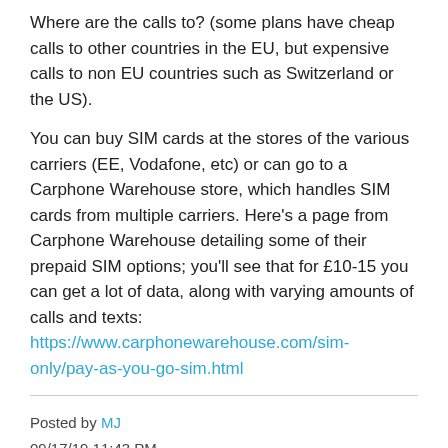Where are the calls to? (some plans have cheap calls to other countries in the EU, but expensive calls to non EU countries such as Switzerland or the US).
You can buy SIM cards at the stores of the various carriers (EE, Vodafone, etc) or can go to a Carphone Warehouse store, which handles SIM cards from multiple carriers. Here's a page from Carphone Warehouse detailing some of their prepaid SIM options; you'll see that for £10-15 you can get a lot of data, along with varying amounts of calls and texts:
https://www.carphonewarehouse.com/sim-only/pay-as-you-go-sim.html
Posted by MJ
09/17/19 11:43 PM
77 posts
Yesterday in London i purchased an EE month plan with 10GB data and a lot of minutes - more than a will ever use. I splurged